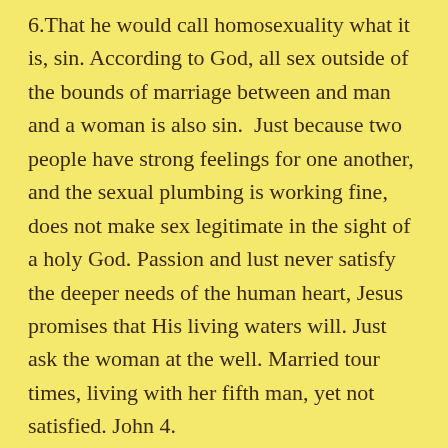6.That he would call homosexuality what it is, sin. According to God, all sex outside of the bounds of marriage between and man and a woman is also sin. Just because two people have strong feelings for one another, and the sexual plumbing is working fine, does not make sex legitimate in the sight of a holy God. Passion and lust never satisfy the deeper needs of the human heart, Jesus promises that His living waters will. Just ask the woman at the well. Married tour times, living with her fifth man, yet not satisfied. John 4.